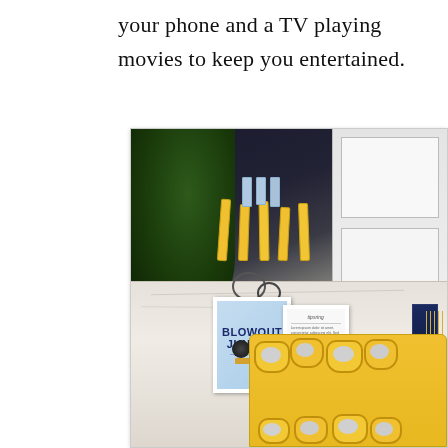your phone and a TV playing movies to keep you entertained.
[Figure (photo): Interior photo of a hair salon/blowout bar showing a marble counter with yellow hair tools, two framed signs (one reading 'BLOWOUT JUNKIE?'), yellow hair-dryer shaped cookies on a platter, green tropical plant in vase, dark navy wall, and white cabinetry in background.]